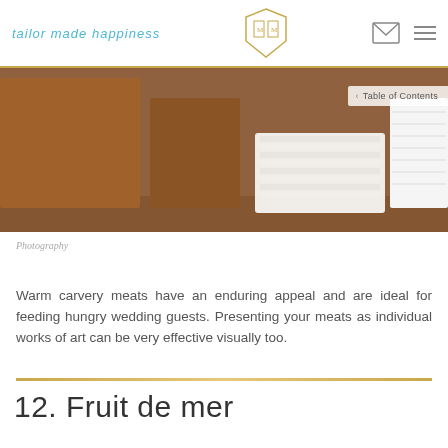tailor made happiness
[Figure (photo): Shelves with wooden blocks, a stack of white napkins/linens, and stacked white plates on a wooden surface]
Table of Contents
Photography
Warm carvery meats have an enduring appeal and are ideal for feeding hungry wedding guests. Presenting your meats as individual works of art can be very effective visually too.
12. Fruit de mer